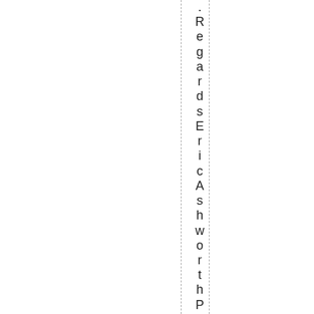RegardsEricAshworthP.S.Andrean